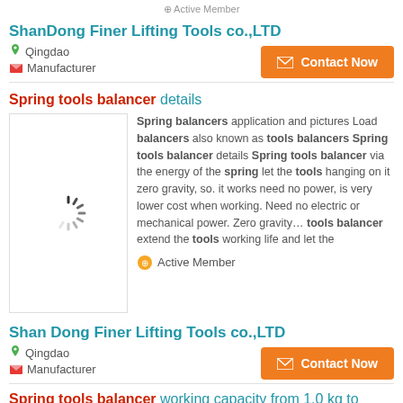Active Member
ShanDong Finer Lifting Tools co.,LTD
Qingdao
Manufacturer
Spring tools balancer details
[Figure (illustration): Loading spinner icon]
Spring balancers application and pictures Load balancers also known as tools balancers Spring tools balancer details Spring tools balancer via the energy of the spring let the tools hanging on it zero gravity, so. it works need no power, is very lower cost when working. Need no electric or mechanical power. Zero gravity… tools balancer extend the tools working life and let the
Active Member
Shan Dong Finer Lifting Tools co.,LTD
Qingdao
Manufacturer
Spring tools balancer working capacity from 1.0 kg to